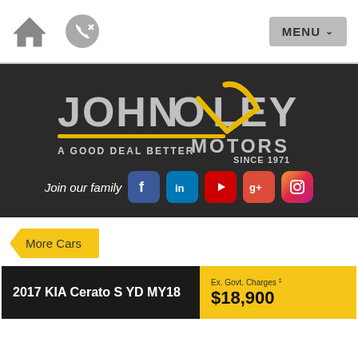[Figure (screenshot): Navigation bar with home icon, phone icon, and MENU button]
[Figure (logo): John Oxley Motors logo — A Good Deal Better Since 1971 — with social media icons (Facebook, LinkedIn, YouTube, Google+, Instagram) and 'Join our family' text]
More Cars
2017 KIA Cerato S YD MY18 — Ex. Govt. Charges ‡ $18,900